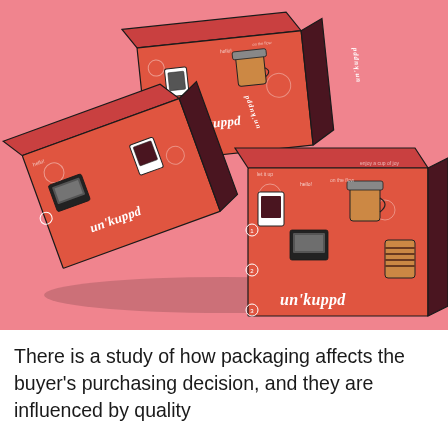[Figure (photo): Product photo of three un'kuppd branded subscription boxes with coral/salmon red fronts and dark maroon sides, arranged dynamically against a pink background. Each box features illustrated coffee-themed artwork and the brand name 'un'kuppd' in white italic lettering.]
There is a study of how packaging affects the buyer's purchasing decision, and they are influenced by quality